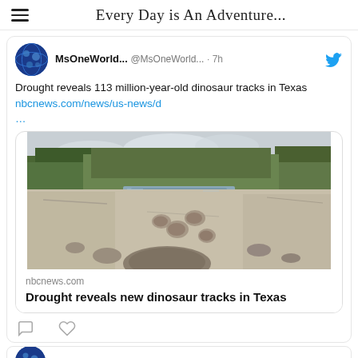Every Day is An Adventure...
MsOneWorld... @MsOneWorld... · 7h
Drought reveals 113 million-year-old dinosaur tracks in Texas nbcnews.com/news/us-news/d ...
[Figure (photo): Dried riverbed showing dinosaur tracks in Texas. A wide shallow rocky riverbed with exposed pale limestone and large rounded dinosaur track impressions in the foreground, with a narrow stream of water in the middle distance and tree-lined banks under an overcast sky.]
nbcnews.com
Drought reveals new dinosaur tracks in Texas